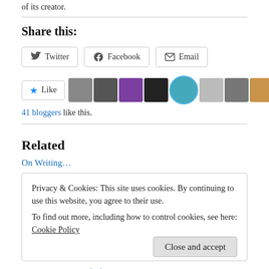of its creator.
Share this:
[Figure (other): Share buttons: Twitter, Facebook, Email]
[Figure (other): Like button with star icon, followed by 11 blogger avatar thumbnails]
41 bloggers like this.
Related
On Writing…
Privacy & Cookies: This site uses cookies. By continuing to use this website, you agree to their use. To find out more, including how to control cookies, see here: Cookie Policy
The warp and woof of creation